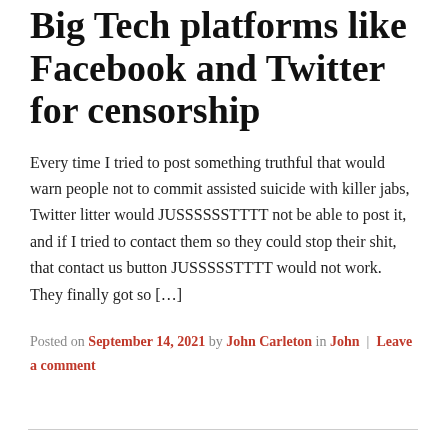Big Tech platforms like Facebook and Twitter for censorship
Every time I tried to post something truthful that would warn people not to commit assisted suicide with killer jabs, Twitter litter would JUSSSSSSTTTT not be able to post it, and if I tried to contact them so they could stop their shit, that contact us button JUSSSSSTTTT would not work. They finally got so […]
Posted on September 14, 2021 by John Carleton in John | Leave a comment